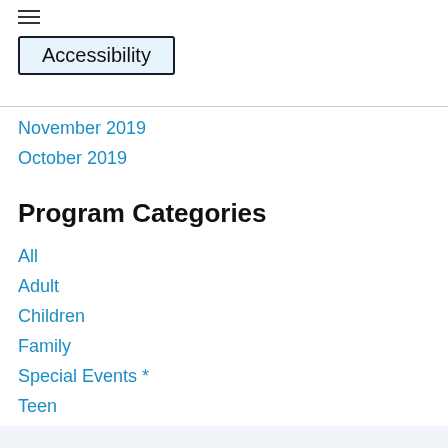[Figure (screenshot): Hamburger menu icon (three horizontal lines) at top left]
Accessibility
November 2019
October 2019
Program Categories
All
Adult
Children
Family
Special Events *
Teen
Recurring Programs
Storytime
Tuesdays at 11:00 AM
Pre K-K Story Hour